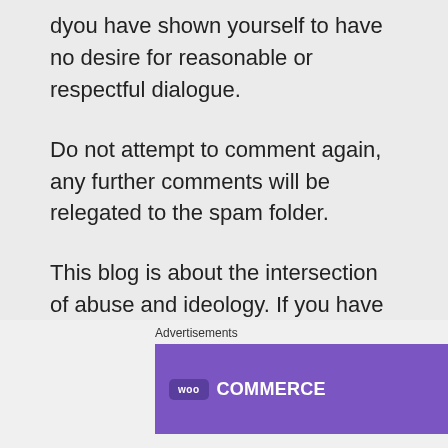dyou have shown yourself to have no desire for reasonable or respectful dialogue.
Do not attempt to comment again, any further comments will be relegated to the spam folder.
This blog is about the intersection of abuse and ideology. If you have no concern for victims, if you
Advertisements
[Figure (other): WooCommerce advertisement banner: purple left section with WooCommerce logo and teal arrow, white right section with text 'How to start selling subscriptions online' and orange/teal decorative shapes.]